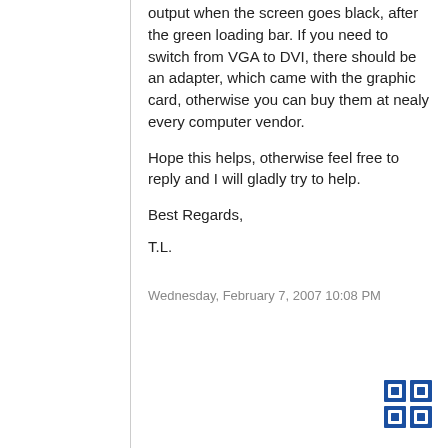output when the screen goes black, after the green loading bar. If you need to switch from VGA to DVI, there should be an adapter, which came with the graphic card, otherwise you can buy them at nealy every computer vendor.
Hope this helps, otherwise feel free to reply and I will gladly try to help.
Best Regards,
T.L.
Wednesday, February 7, 2007 10:08 PM
[Figure (logo): Small square logo with blue geometric pattern resembling interlocking puzzle pieces]